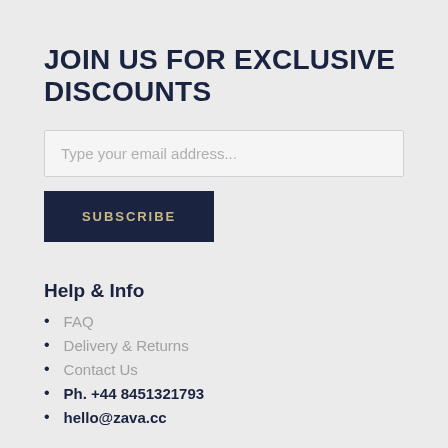JOIN US FOR EXCLUSIVE DISCOUNTS
Type your email address...
SUBSCRIBE
Help & Info
FAQ
Delivery & Returns
Contact Us
Ph. +44 8451321793
hello@zava.cc